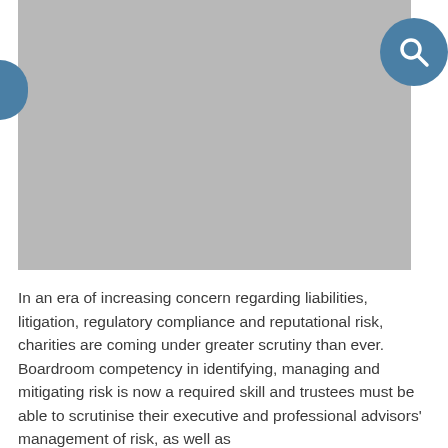[Figure (photo): Grey placeholder image occupying the top portion of the page]
In an era of increasing concern regarding liabilities, litigation, regulatory compliance and reputational risk, charities are coming under greater scrutiny than ever. Boardroom competency in identifying, managing and mitigating risk is now a required skill and trustees must be able to scrutinise their executive and professional advisors' management of risk, as well as